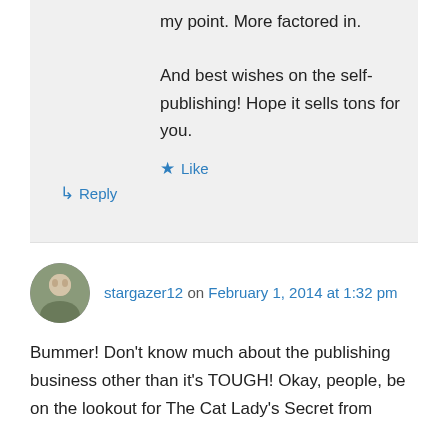my point. More factored in.

And best wishes on the self-publishing! Hope it sells tons for you.
Like
Reply
stargazer12 on February 1, 2014 at 1:32 pm
Bummer! Don't know much about the publishing business other than it's TOUGH! Okay, people, be on the lookout for The Cat Lady's Secret from